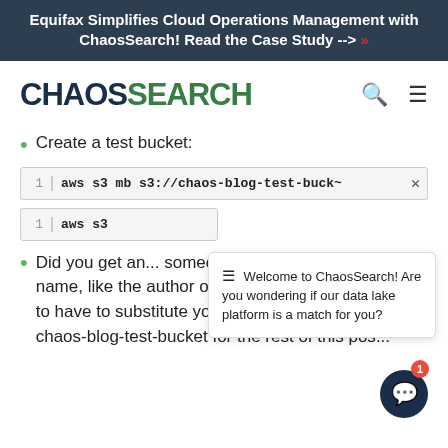Equifax Simplifies Cloud Operations Management with ChaosSearch! Read the Case Study --> »
[Figure (logo): ChaosSearch logo with CHAOS in dark navy and SEARCH in green]
Create a test bucket:
1  aws s3 mb s3://chaos-blog-test-buck~
1  aws s3
Did you get an... someone else... name, like the author of this blog post, you're going to have to substitute your own bucket name for chaos-blog-test-bucket for the rest of this pos...
Welcome to ChaosSearch! Are you wondering if our data lake platform is a match for you?